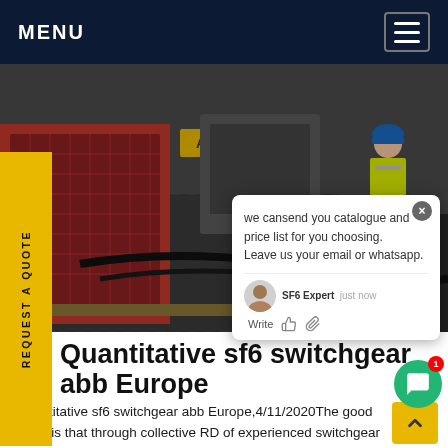MENU
[Figure (photo): Construction site photo showing industrial switchgear equipment, a worker in high-visibility vest and hard hat, cables on ground, and red metal enclosures. Outdoor industrial setting.]
REQUEST A QUOTE
we cansend you catalogue and price list for you choosing. Leave us your email or whatsapp.
Quantitative sf6 switchgear abb Europe
Quantitative sf6 switchgear abb Europe,4/11/2020The good news is that through collective RD of experienced switchgear manufacturers, the...